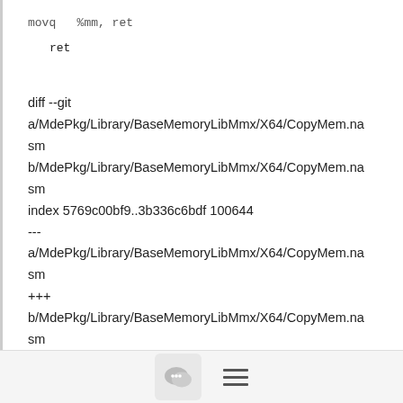movq  %mm, ret
    ret
diff --git a/MdePkg/Library/BaseMemoryLibMmx/X64/CopyMem.nasm b/MdePkg/Library/BaseMemoryLibMmx/X64/CopyMem.nasm
index 5769c00bf9..3b336c6bdf 100644
--- a/MdePkg/Library/BaseMemoryLibMmx/X64/CopyMem.nasm
+++ b/MdePkg/Library/BaseMemoryLibMmx/X64/CopyMem.nasm
@@ -1,6 +1,6 @@